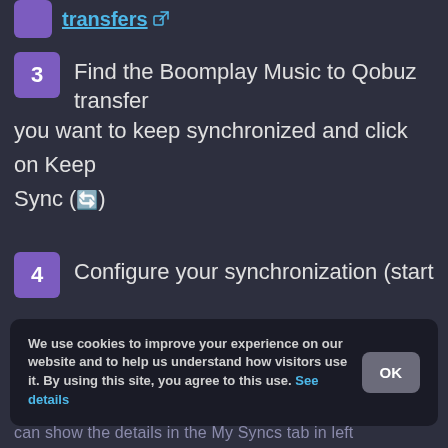transfers ↗
3  Find the Boomplay Music to Qobuz transfer you want to keep synchronized and click on Keep Sync (🔄)
4  Configure your synchronization (start date/time, frequency, method)
We use cookies to improve your experience on our website and to help us understand how visitors use it. By using this site, you agree to this use. See details
can show the details in the My Syncs tab in left